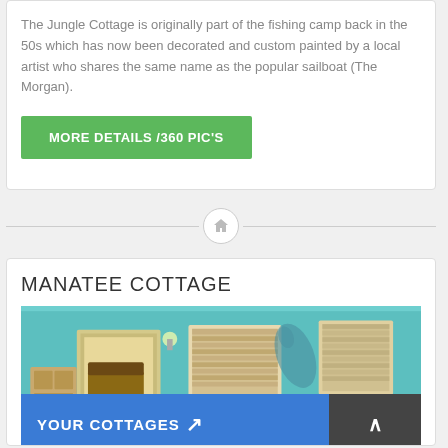The Jungle Cottage is originally part of the fishing camp back in the 50s which has now been decorated and custom painted by a local artist who shares the same name as the popular sailboat (The Morgan).
[Figure (other): Green button with white uppercase text: MORE DETAILS /360 PIC'S]
[Figure (other): Horizontal divider line with a circular home icon in the center]
MANATEE COTTAGE
[Figure (photo): Interior photo of a cottage room with turquoise painted walls, a manatee mural, windows with blinds, a doorway showing another room, and a bed. Overlaid with a blue 'YOUR COTTAGES' button with an arrow icon, and a dark scroll-up button.]